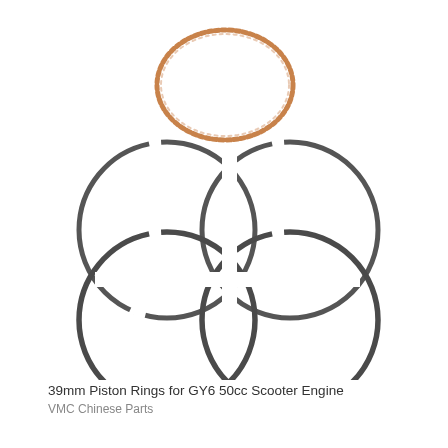[Figure (illustration): Five piston rings for a GY6 50cc scooter engine. One smaller copper/bronze colored ring with a textured/braided appearance at the top center. Below it, four larger dark gray metallic rings arranged in a 2x2 grid pattern, each ring shown as a thin circle with a small gap visible where the ends meet.]
39mm Piston Rings for GY6 50cc Scooter Engine
VMC Chinese Parts